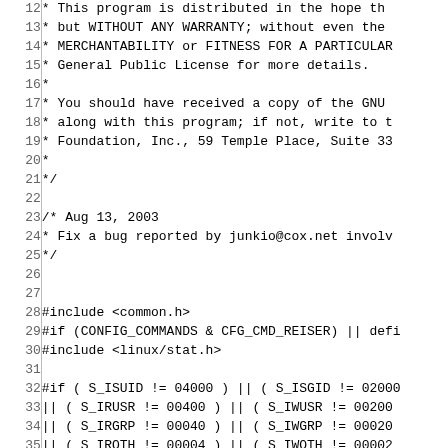Source code listing, lines 12-42, C preprocessor file with license header and include guards
12:  * This program is distributed in the hope th
13:  * but WITHOUT ANY WARRANTY; without even the
14:  * MERCHANTABILITY or FITNESS FOR A PARTICULAR
15:  * General Public License for more details.
16:  *
17:  * You should have received a copy of the GNU
18:  * along with this program; if not, write to t
19:  * Foundation, Inc., 59 Temple Place, Suite 33
20:  *
21:  */
22: (blank)
23: /* Aug 13, 2003
24:  * Fix a bug reported by junkio@cox.net involv
25:  */
26: (blank)
27: (blank)
28: #include <common.h>
29: #if (CONFIG_COMMANDS & CFG_CMD_REISER) || defi
30: #include <linux/stat.h>
31: (blank)
32: #if ( S_ISUID != 04000 ) || ( S_ISGID != 02000
33:   || ( S_IRUSR != 00400 ) || ( S_IWUSR != 00200
34:   || ( S_IRGRP != 00040 ) || ( S_IWGRP != 00020
35:   || ( S_IROTH != 00004 ) || ( S_IWOTH != 00002
36: #error permission bitflag value assumption(s)
37: #endif
38: (blank)
39: #if ( S_IFSOCK!= 0140000 ) || ( S_IFLNK != 012
40:   || ( S_IFREG != 0100000 ) || ( S_IFBLK != 006
41:   || ( S_IFDIR != 0040000 ) || ( S_IFCHR != 002
42:   || ( S_IFIFO != 0010000 )